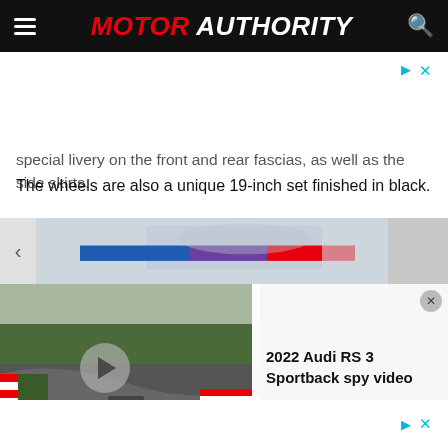MOTOR AUTHORITY
special livery on the front and rear fascias, as well as the side skirts.
The wheels are also a unique 19-inch set finished in black.
[Figure (screenshot): Gallery strip showing a BMW M vehicle with blue, purple, and red M stripes; left navigation arrow visible.]
[Figure (screenshot): Video player showing a 2022 Audi RS 3 Sportback spy video on a racing circuit (Nürburgring). The video has a play button overlay on the left half, and a white overlay card on the right half reading '2022 Audi RS 3 Sportback spy video' with a close button.]
2022 Audi RS 3 Sportback spy video